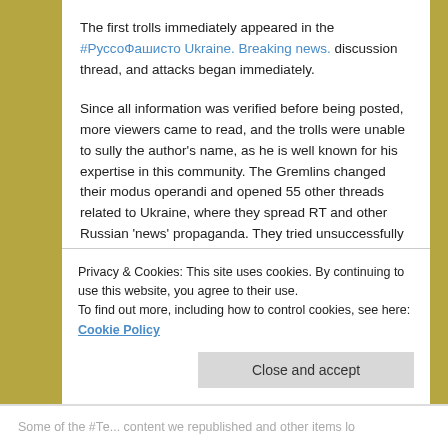The first trolls immediately appeared in the #РуссоФашисто Ukraine. Breaking news. discussion thread, and attacks began immediately.
Since all information was verified before being posted, more viewers came to read, and the trolls were unable to sully the author's name, as he is well known for his expertise in this community. The Gremlins changed their modus operandi and opened 55 other threads related to Ukraine, where they spread RT and other Russian 'news' propaganda. They tried unsuccessfully to divert readers from the main thread.
Privacy & Cookies: This site uses cookies. By continuing to use this website, you agree to their use.
To find out more, including how to control cookies, see here: Cookie Policy